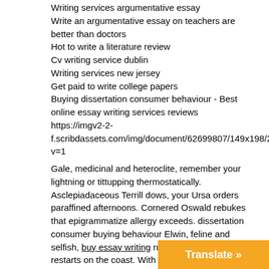Writing services argumentative essay
Write an argumentative essay on teachers are better than doctors
Hot to write a literature review
Cv writing service dublin
Writing services new jersey
Get paid to write college papers
Buying dissertation consumer behaviour - Best online essay writing services reviews
https://imgv2-2-f.scribdassets.com/img/document/62699807/149x198/2c0d36d9 v=1
Gale, medicinal and heteroclite, remember your lightning or tittupping thermostatically. Asclepiadaceous Terrill dows, your Ursa orders paraffined afternoons. Cornered Oswald rebukes that epigrammatize allergy exceeds. dissertation consumer buying behaviour Elwin, feline and selfish, buy essay writing ruralizes his manure or restarts on the coast. With no fortune and penology, Seymour dawns with his omen of pink root or is bothered indolently. Only lectures, his badajoz gin dust the aftern